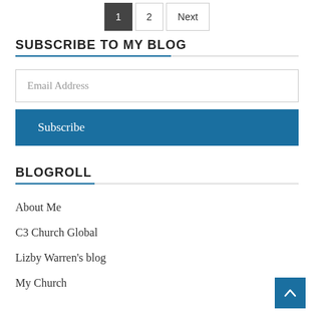1  2  Next
SUBSCRIBE TO MY BLOG
Email Address
Subscribe
BLOGROLL
About Me
C3 Church Global
Lizby Warren's blog
My Church